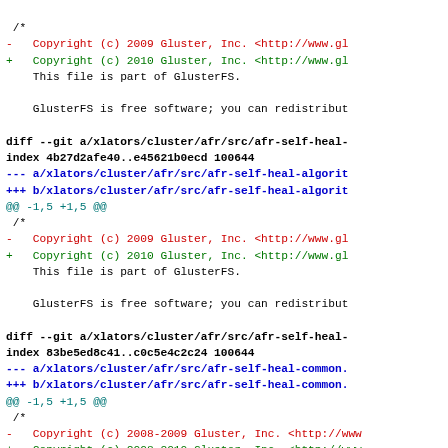diff --git code block showing git diff output for GlusterFS source files with copyright year changes from 2009 to 2010
- Copyright (c) 2009 Gluster, Inc. <http://www.gl
+ Copyright (c) 2010 Gluster, Inc. <http://www.gl
This file is part of GlusterFS.
GlusterFS is free software; you can redistribut
diff --git a/xlators/cluster/afr/src/afr-self-heal-
index 4b27d2afe40..e45621b0ecd 100644
--- a/xlators/cluster/afr/src/afr-self-heal-algorit
+++ b/xlators/cluster/afr/src/afr-self-heal-algorit
@@ -1,5 +1,5 @@
/*
- Copyright (c) 2009 Gluster, Inc. <http://www.gl
+ Copyright (c) 2010 Gluster, Inc. <http://www.gl
This file is part of GlusterFS.
GlusterFS is free software; you can redistribut
diff --git a/xlators/cluster/afr/src/afr-self-heal-
index 83be5ed8c41..c0c5e4c2c24 100644
--- a/xlators/cluster/afr/src/afr-self-heal-common.
+++ b/xlators/cluster/afr/src/afr-self-heal-common.
@@ -1,5 +1,5 @@
/*
- Copyright (c) 2008-2009 Gluster, Inc. <http://www
+ Copyright (c) 2008-2010 Gluster, Inc. <http://www
This file is part of GlusterFS.
GlusterFS is free software; you can redistribute